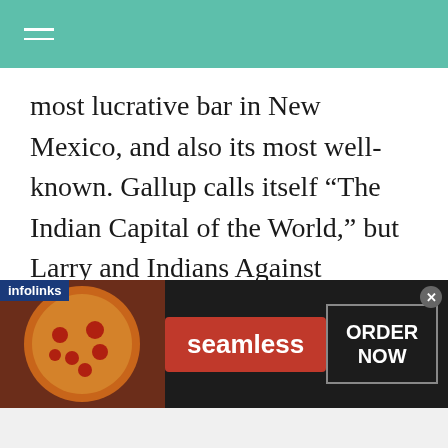most lucrative bar in New Mexico, and also its most well-known. Gallup calls itself “The Indian Capital of the World,” but Larry and Indians Against Exploitation, a group comprised of young Navajo and Pueblo activists that Larry organized with, called it the “City of Exploitation”. Gallup had 39 bars or liquor stores in 1973. This was 32 less than the limit of one liquor establishment per
[Figure (other): Advertisement banner: infolinks label, pizza photo on left, Seamless red button in center, ORDER NOW box on right with close button]